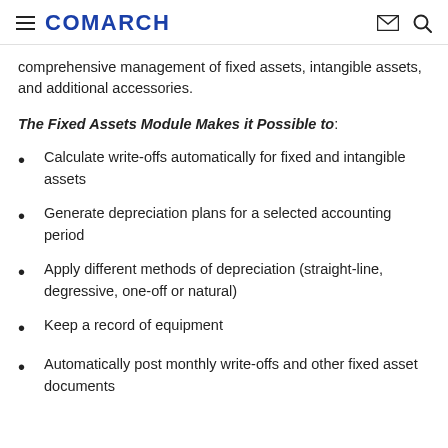COMARCH
comprehensive management of fixed assets, intangible assets, and additional accessories.
The Fixed Assets Module Makes it Possible to:
Calculate write-offs automatically for fixed and intangible assets
Generate depreciation plans for a selected accounting period
Apply different methods of depreciation (straight-line, degressive, one-off or natural)
Keep a record of equipment
Automatically post monthly write-offs and other fixed asset documents